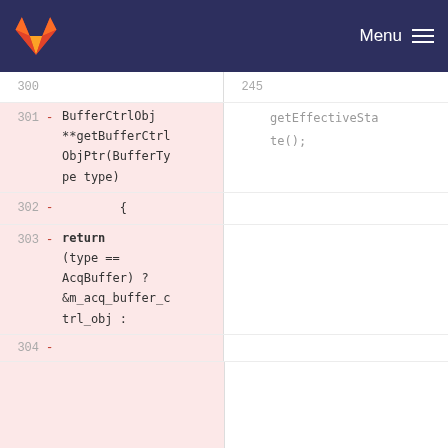GitLab · Menu
[Figure (screenshot): Code diff view showing removed lines 300-304 on the left side with pink background. Left side shows lines with '-' markers for removed code: line 300 (blank), line 301: BufferCtrlObj **getBufferCtrlObjPtr(BufferType type), line 302: {, line 303: return (type == AcqBuffer) ? &m_acq_buffer_ctrl_obj :, line 304: (blank). Right side shows line 245 with getEffectiveState(); repeated.]